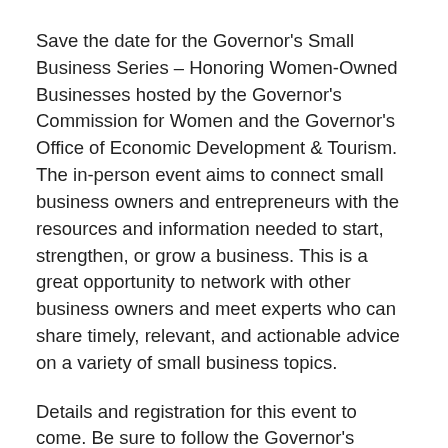Save the date for the Governor's Small Business Series – Honoring Women-Owned Businesses hosted by the Governor's Commission for Women and the Governor's Office of Economic Development & Tourism. The in-person event aims to connect small business owners and entrepreneurs with the resources and information needed to start, strengthen, or grow a business. This is a great opportunity to network with other business owners and meet experts who can share timely, relevant, and actionable advice on a variety of small business topics.
Details and registration for this event to come. Be sure to follow the Governor's Commission for Women social media accounts and sign-up for the newsletter for all updates.